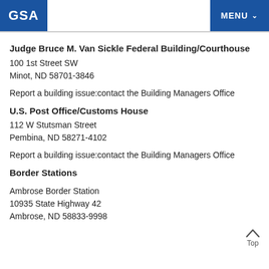GSA | MENU
Judge Bruce M. Van Sickle Federal Building/Courthouse
100 1st Street SW
Minot, ND 58701-3846
Report a building issue:contact the Building Managers Office
U.S. Post Office/Customs House
112 W Stutsman Street
Pembina, ND 58271-4102
Report a building issue:contact the Building Managers Office
Border Stations
Ambrose Border Station
10935 State Highway 42
Ambrose, ND 58833-9998